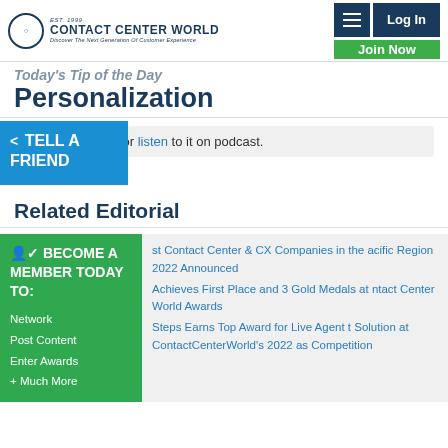Contact Center World | Discover The Next Generation Of Customer Experience | Log In | Join Now
Today's Tip of the Day
Personalization
Read today's tip or listen to it on podcast.
[Figure (infographic): Blue social share button labeled TELL A FRIEND with share icon]
Related Editorial
[Figure (infographic): Green sidebar: BECOME A MEMBER TODAY TO: Network, Post Content, Enter Awards, + Much More]
st Contact Center & CX Companies in the acific Region 2022 Announced
Achieves First Place and 3 Gold Medals at ntact Center World Awards
Steps Earns Top Award for Live Agent t Solution at ContactCenterWorld's 2022 as Competition